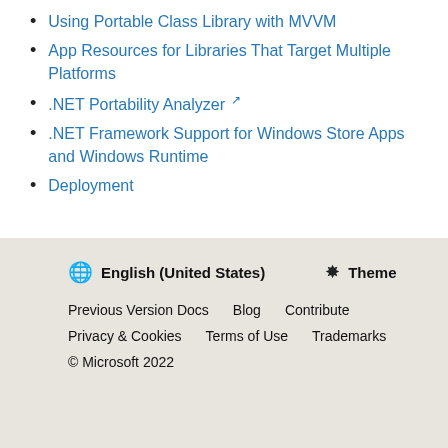Using Portable Class Library with MVVM
App Resources for Libraries That Target Multiple Platforms
.NET Portability Analyzer ↗
.NET Framework Support for Windows Store Apps and Windows Runtime
Deployment
🌐 English (United States)  ✳ Theme  Previous Version Docs  Blog  Contribute  Privacy & Cookies  Terms of Use  Trademarks  © Microsoft 2022